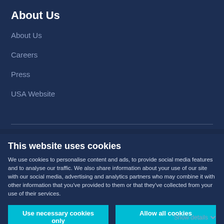About Us
About Us
Careers
Press
USA Website
This website uses cookies
We use cookies to personalise content and ads, to provide social media features and to analyse our traffic. We also share information about your use of our site with our social media, advertising and analytics partners who may combine it with other information that you've provided to them or that they've collected from your use of their services.
Use necessary cookies only
Allow all cookies
Show details